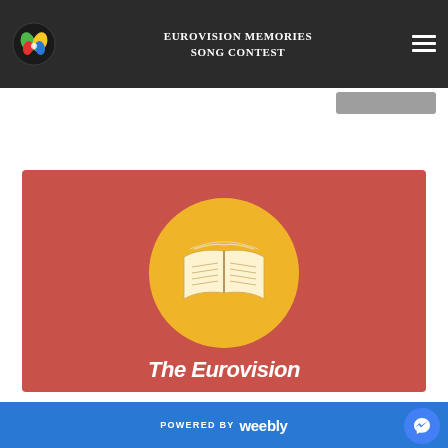Eurovision Memories Song Contest
[Figure (illustration): Red promotional banner with a yellow circle containing an open book icon, and partial white italic text 'The Eurovision...' at the bottom]
POWERED BY weebly